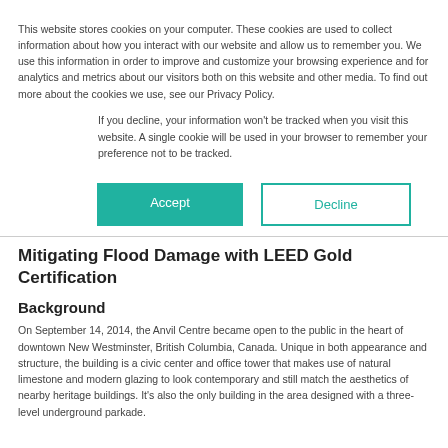This website stores cookies on your computer. These cookies are used to collect information about how you interact with our website and allow us to remember you. We use this information in order to improve and customize your browsing experience and for analytics and metrics about our visitors both on this website and other media. To find out more about the cookies we use, see our Privacy Policy.
If you decline, your information won't be tracked when you visit this website. A single cookie will be used in your browser to remember your preference not to be tracked.
[Figure (other): Two buttons: a teal filled 'Accept' button and a teal outlined 'Decline' button]
Mitigating Flood Damage with LEED Gold Certification
Background
On September 14, 2014, the Anvil Centre became open to the public in the heart of downtown New Westminster, British Columbia, Canada. Unique in both appearance and structure, the building is a civic center and office tower that makes use of natural limestone and modern glazing to look contemporary and still match the aesthetics of nearby heritage buildings. It's also the only building in the area designed with a three-level underground parkade.